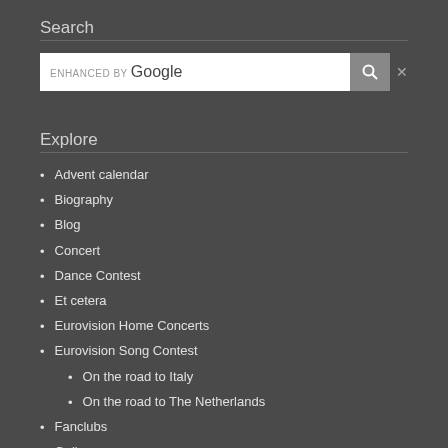Search
[Figure (screenshot): Google search box with search button and close (x) button]
Explore
Advent calendar
Biography
Blog
Concert
Dance Contest
Et cetera
Eurovision Home Concerts
Eurovision Song Contest
On the road to Italy
On the road to The Netherlands
Fanclubs
Gallery
Interview
Junior Eurovision Song Contest